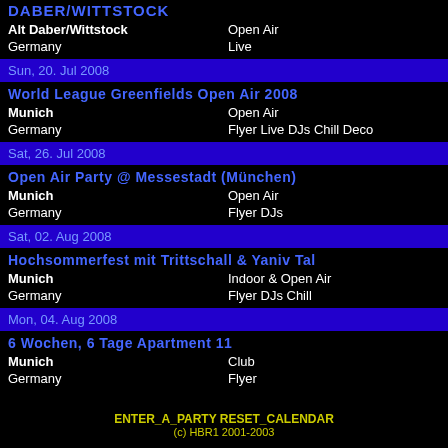DABER/WITTSTOCK
Alt Daber/Wittstock | Open Air
Germany | Live
Sun, 20. Jul 2008
World League Greenfields Open Air 2008
Munich | Open Air
Germany | Flyer Live DJs Chill Deco
Sat, 26. Jul 2008
Open Air Party @ Messestadt (München)
Munich | Open Air
Germany | Flyer DJs
Sat, 02. Aug 2008
Hochsommerfest mit Trittschall & Yaniv Tal
Munich | Indoor & Open Air
Germany | Flyer DJs Chill
Mon, 04. Aug 2008
6 Wochen, 6 Tage Apartment 11
Munich | Club
Germany | Flyer
ENTER_A_PARTY RESET_CALENDAR
(c) HBR1 2001-2003